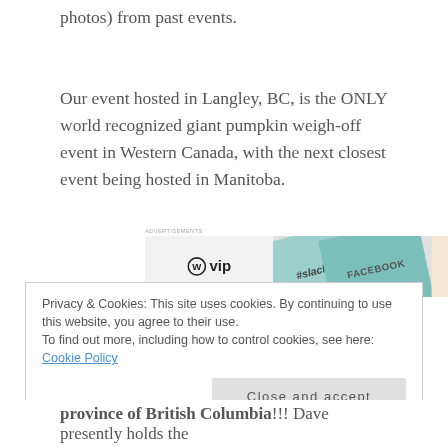photos) from past events.
Our event hosted in Langley, BC, is the ONLY world recognized giant pumpkin weigh-off event in Western Canada, with the next closest event being hosted in Manitoba.
[Figure (screenshot): Advertisement banner for WordPress VIP showing company logos including Slack and Facebook with a 'Learn more' button]
Here are some highlights from past events...
Privacy & Cookies: This site uses cookies. By continuing to use this website, you agree to their use.
To find out more, including how to control cookies, see here: Cookie Policy
Close and accept
province of British Columbia!!! Dave presently holds the